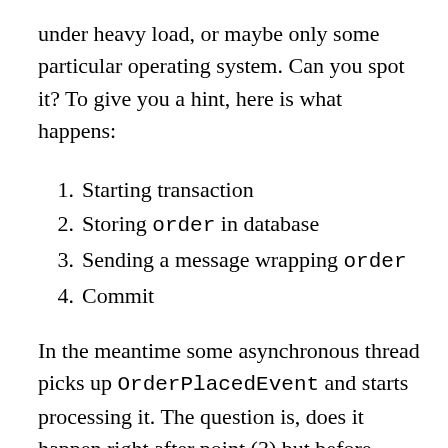under heavy load, or maybe only some particular operating system. Can you spot it? To give you a hint, here is what happens:
1. Starting transaction
2. Storing order in database
3. Sending a message wrapping order
4. Commit
In the meantime some asynchronous thread picks up OrderPlacedEvent and starts processing it. The question is, does it happen right after point (3) but before point (4) or maybe after (4)? That makes a big difference! In the former case the transaction